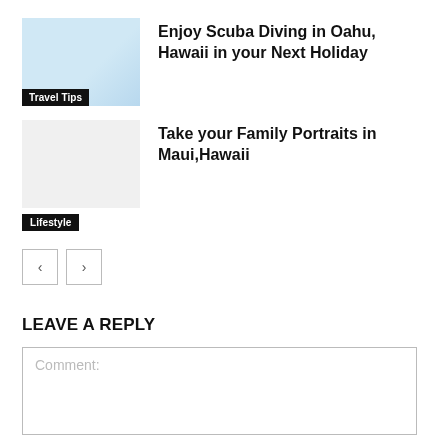[Figure (photo): Thumbnail image of scuba diving scene in Hawaii with light blue tones]
Enjoy Scuba Diving in Oahu, Hawaii in your Next Holiday
Travel Tips
[Figure (photo): Blank/placeholder thumbnail for family portraits in Maui article]
Take your Family Portraits in Maui,Hawaii
Lifestyle
< >
LEAVE A REPLY
Comment: